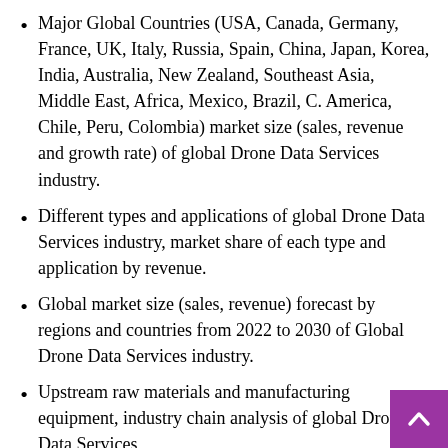Major Global Countries (USA, Canada, Germany, France, UK, Italy, Russia, Spain, China, Japan, Korea, India, Australia, New Zealand, Southeast Asia, Middle East, Africa, Mexico, Brazil, C. America, Chile, Peru, Colombia) market size (sales, revenue and growth rate) of global Drone Data Services industry.
Different types and applications of global Drone Data Services industry, market share of each type and application by revenue.
Global market size (sales, revenue) forecast by regions and countries from 2022 to 2030 of Global Drone Data Services industry.
Upstream raw materials and manufacturing equipment, industry chain analysis of global Drone Data Services